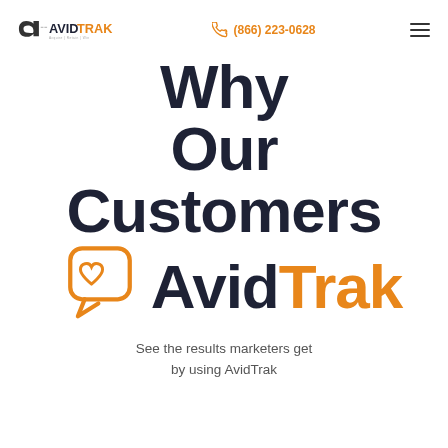AvidTrak logo | (866) 223-0628
Why Our Customers AvidTrak
[Figure (logo): Chat bubble with heart icon next to AvidTrak brand name]
See the results marketers get by using AvidTrak